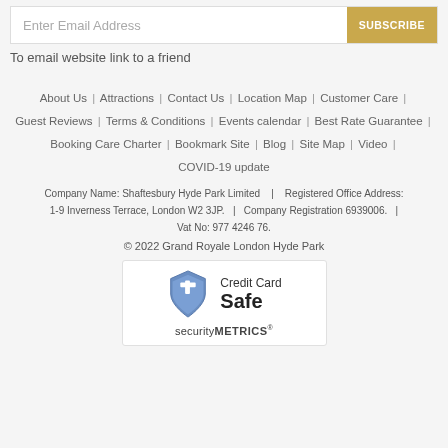Enter Email Address  SUBSCRIBE
To email website link to a friend
About Us | Attractions | Contact Us | Location Map | Customer Care | Guest Reviews | Terms & Conditions | Events calendar | Best Rate Guarantee | Booking Care Charter | Bookmark Site | Blog | Site Map | Video | COVID-19 update
Company Name: Shaftesbury Hyde Park Limited   |   Registered Office Address: 1-9 Inverness Terrace, London W2 3JP.   |   Company Registration 6939006.   |   Vat No: 977 4246 76.
© 2022 Grand Royale London Hyde Park
[Figure (logo): SecurityMetrics Credit Card Safe badge — blue shield with cross/checkmark design, text 'Credit Card Safe' and 'securityMETRICS']